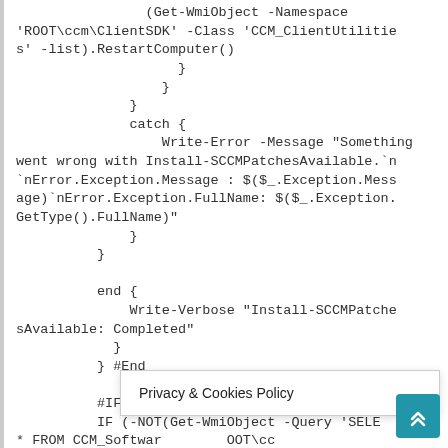(Get-WmiObject -Namespace 'ROOT\ccm\ClientSDK' -Class 'CCM_ClientUtilities' -list).RestartComputer()
            }
          }
        }
        catch {
            Write-Error -Message "Something went wrong with Install-SCCMPatchesAvailable.`n`nError.Exception.Message : $($_.Exception.Message)`nError.Exception.FullName: $($_.Exception.GetType().FullName)"
        }
      }

      end {
          Write-Verbose "Install-SCCMPatchesAvailable: Completed"
        }
      } #End

      #IF NO PATCHES
      IF (-NOT(Get-WmiObject -Query 'SELECT * FROM CCM_Software\ClientSDK')) {
Privacy & Cookies Policy